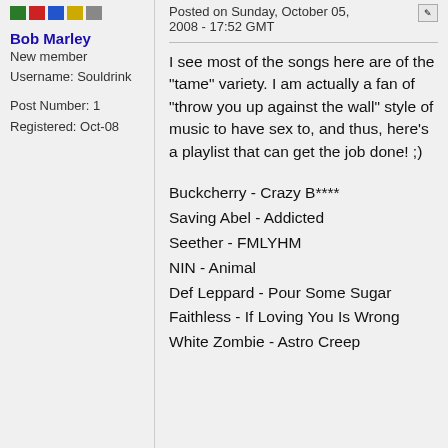Posted on Sunday, October 05, 2008 - 17:52 GMT
Bob Marley
New member
Username: Souldrink
Post Number: 1
Registered: Oct-08
I see most of the songs here are of the "tame" variety. I am actually a fan of "throw you up against the wall" style of music to have sex to, and thus, here's a playlist that can get the job done! ;)
Buckcherry - Crazy B****
Saving Abel - Addicted
Seether - FMLYHM
NIN - Animal
Def Leppard - Pour Some Sugar
Faithless - If Loving You Is Wrong
White Zombie - Astro Creep